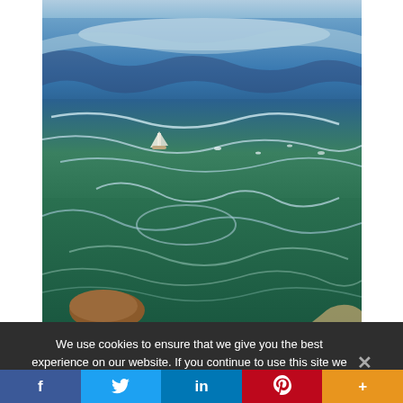[Figure (illustration): A painting of a turbulent ocean scene with blue and green swirling waves, a small sailboat visible in the middle distance, white foam patterns on the water surface, and a rocky shore element at the bottom. The sea fills almost the entire canvas with rolling waves and a horizon visible near the top.]
We use cookies to ensure that we give you the best experience on our website. If you continue to use this site we will assume that you are happy with it.
f
in
+